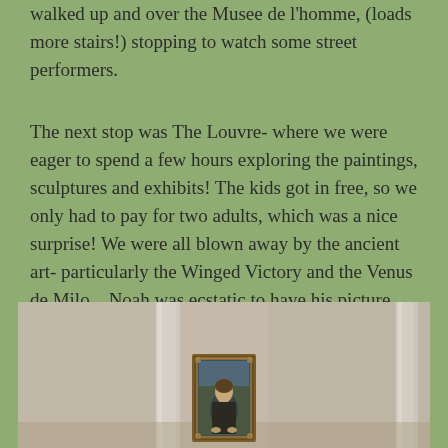walked up and over the Musee de l'homme, (loads more stairs!) stopping to watch some street performers.
The next stop was The Louvre- where we were eager to spend a few hours exploring the paintings, sculptures and exhibits! The kids got in free, so we only had to pay for two adults, which was a nice surprise! We were all blown away by the ancient art- particularly the Winged Victory and the Venus de Milo... Noah was ecstatic to have his picture taken with none other than the Mona Lisa!
[Figure (photo): Photo of the Mona Lisa painting displayed in the Louvre museum, with two vertical glass or mirror panels flanking it. The painting is in an ornate gold frame, visible in the distance.]